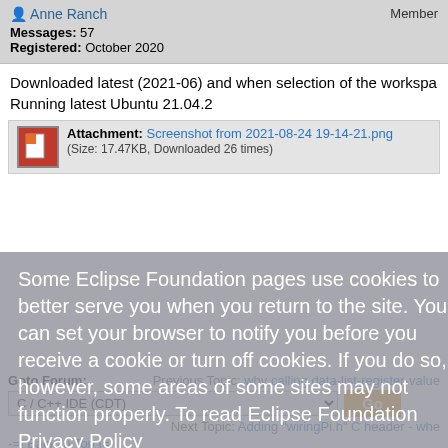Anne Ranch | Member | Messages: 57 | Registered: October 2020
Downloaded latest (2021-06) and when selection of the workspa Running latest Ubuntu 21.04.2
Attachment: Screenshot from 2021-08-24 19-14-21.png (Size: 17.47KB, Downloaded 26 times)
[Figure (screenshot): Cookie consent overlay with text: Some Eclipse Foundation pages use cookies to better serve you when you return to the site. You can set your browser to notify you before you receive a cookie or turn off cookies. If you do so, however, some areas of some sites may not function properly. To read Eclipse Foundation Privacy Policy. Buttons: Decline, Allow cookies.]
Goto Forum: | Previous Topic: why calling data-list-register-value | C/C++ IDE (CDT) [dropdown] Go | Next Topic: Adding "wiringPi.h" C header - whe
-=] Back to Top [=-
Current Time: Tue S